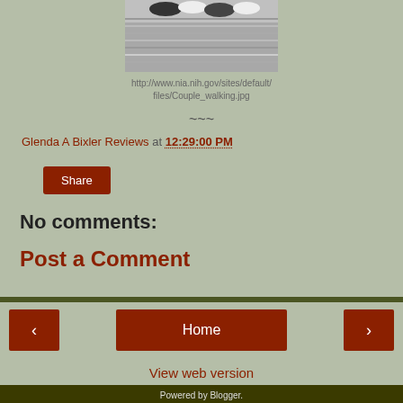[Figure (photo): Bottom portion of photo showing feet/shoes of people walking on a wooden surface]
http://www.nia.nih.gov/sites/default/files/Couple_walking.jpg
~~~
Glenda A Bixler Reviews at 12:29:00 PM
Share
No comments:
Post a Comment
Home
View web version
Powered by Blogger.